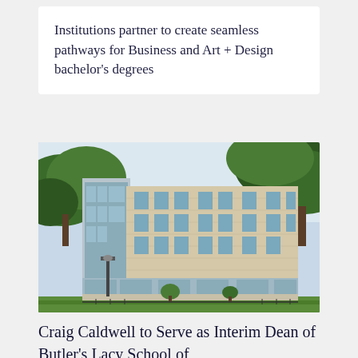Institutions partner to create seamless pathways for Business and Art + Design bachelor's degrees
[Figure (photo): Exterior photograph of a modern university building with tan/beige brick facade, large glass windows, and green trees in the foreground. The building appears to be a multi-story academic or business school building on a college campus.]
Craig Caldwell to Serve as Interim Dean of Butler's Lacy School of